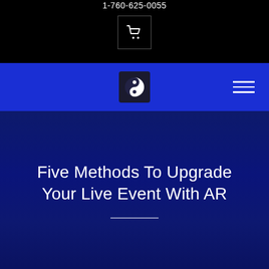1-760-625-0055
[Figure (logo): Shopping cart icon in a bordered box]
[Figure (logo): Yin-yang logo on dark background square]
[Figure (other): Hamburger menu icon (three horizontal lines)]
Five Methods To Upgrade Your Live Event With AR